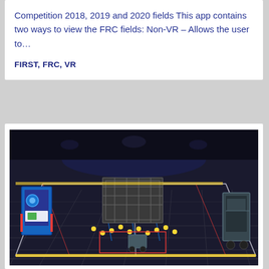Competition 2018, 2019 and 2020 fields This app contains two ways to view the FRC fields: Non-VR – Allows the user to...
FIRST, FRC, VR
[Figure (photo): 3D rendered view of an FRC (FIRST Robotics Competition) field showing a competition arena with robots, field elements including scoring structures, yellow game pieces, red boundary lines, and field markings on a dark floor surface viewed from an elevated angle.]